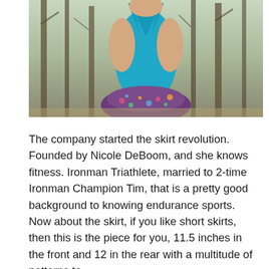[Figure (photo): Back view of a woman wearing a teal/turquoise racerback tank top and a colorful floral skirt, standing outdoors with bare winter trees in the background.]
The company started the skirt revolution. Founded by Nicole DeBoom, and she knows fitness. Ironman Triathlete, married to 2-time Ironman Champion Tim, that is a pretty good background to knowing endurance sports. Now about the skirt, if you like short skirts, then this is the piece for you, 11.5 inches in the front and 12 in the rear with a multitude of patterns to